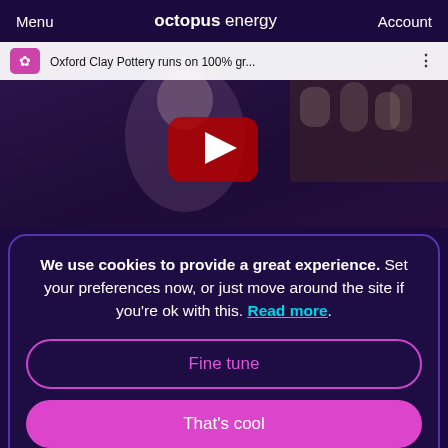Menu   octopus energy   Account
[Figure (screenshot): YouTube video thumbnail showing a smiling woman in a pottery shop, titled 'Oxford Clay Pottery runs on 100% gr...' with YouTube play button overlay]
We use cookies to provide a great experience. Set your preferences now, or just move around the site if you're ok with this. Read more.
Fine tune
That's cool